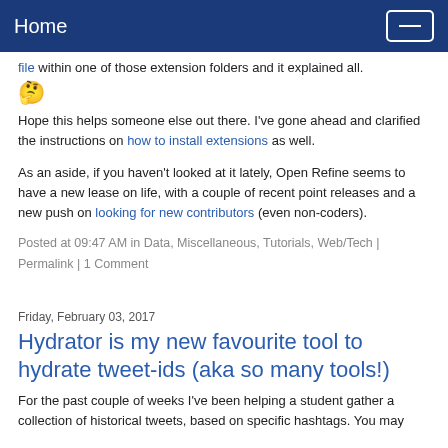Home
file within one of those extension folders and it explained all. 🤔
Hope this helps someone else out there. I've gone ahead and clarified the instructions on how to install extensions as well.
As an aside, if you haven't looked at it lately, Open Refine seems to have a new lease on life, with a couple of recent point releases and a new push on looking for new contributors (even non-coders).
Posted at 09:47 AM in Data, Miscellaneous, Tutorials, Web/Tech | Permalink | 1 Comment
Friday, February 03, 2017
Hydrator is my new favourite tool to hydrate tweet-ids (aka so many tools!)
For the past couple of weeks I've been helping a student gather a collection of historical tweets, based on specific hashtags. You may